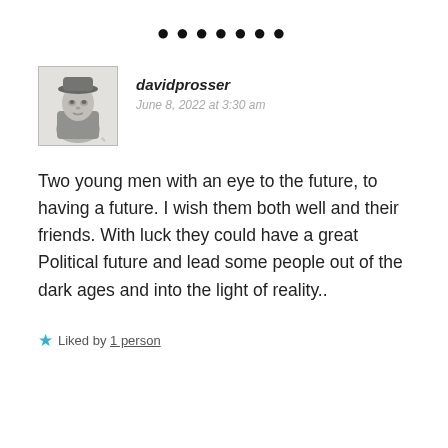[Figure (other): Row of seven large dots used as a separator]
[Figure (photo): Grayscale sketch/avatar of a person wearing a hat]
davidprosser
June 8, 2022 at 3:30 am
Two young men with an eye to the future, to having a future. I wish them both well and their friends. With luck they could have a great Political future and lead some people out of the dark ages and into the light of reality..
Liked by 1 person